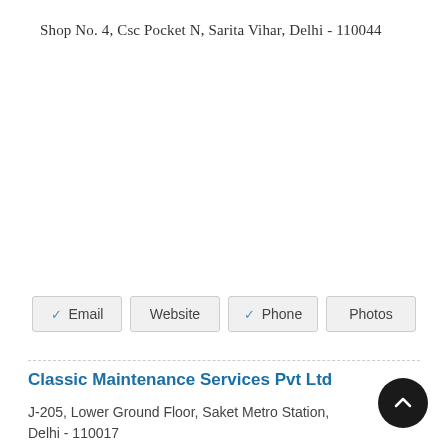Shop No. 4, Csc Pocket N, Sarita Vihar, Delhi - 110044
✓ Email  Website  ✓ Phone  Photos
Classic Maintenance Services Pvt Ltd
J-205, Lower Ground Floor, Saket Metro Station, Delhi - 110017